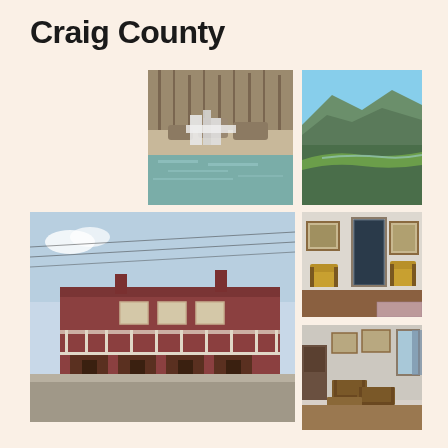Craig County
[Figure (photo): Waterfall cascading over rocky ledges into a green pool, surrounded by bare winter trees]
[Figure (photo): Aerial view of mountain ridges covered in green forest with a valley below and blue sky]
[Figure (photo): Historic two-story red brick building with white wraparound porch/balcony and commercial storefronts at street level, corner building]
[Figure (photo): Interior room with antique yellow/gold chairs, framed pictures on white walls, and a dark doorway]
[Figure (photo): Interior room with wooden antique school desks or writing tables arranged in rows, framed pictures on walls]